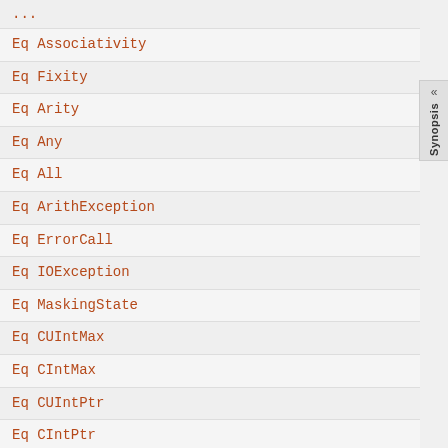Eq Associativity
Eq Fixity
Eq Arity
Eq Any
Eq All
Eq ArithException
Eq ErrorCall
Eq IOException
Eq MaskingState
Eq CUIntMax
Eq CIntMax
Eq CUIntPtr
Eq CIntPtr
Eq CSUSeconds
Eq CUSeconds
Eq CTime
Eq CClock
Eq CSigAtomic
Eq CWchar